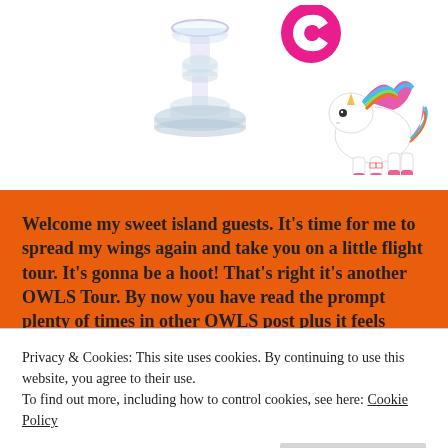[Figure (illustration): A clear glass candlestick holder on the left and a colorful cartoon unicorn with rainbow mane with a pink Crunchyroll logo circle on the right, against a white background]
Welcome my sweet island guests. It's time for me to spread my wings again and take you on a little flight tour. It's gonna be a hoot! That's right it's another OWLS Tour. By now you have read the prompt plenty of times in other OWLS post plus it feels really
Privacy & Cookies: This site uses cookies. By continuing to use this website, you agree to their use.
To find out more, including how to control cookies, see here: Cookie Policy
Close and accept
anime, manga, movie? How do we see